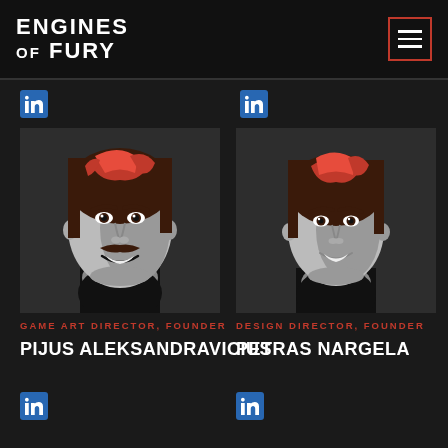[Figure (logo): Engines of Fury logo text in white on black header]
[Figure (illustration): Hamburger menu button with orange/red border on black header]
[Figure (illustration): LinkedIn icon top-left]
[Figure (illustration): LinkedIn icon top-right]
[Figure (illustration): Stylized vector portrait illustration of Pijus Aleksandravicius with red-brown hair on dark background]
[Figure (illustration): Stylized vector portrait illustration of Petras Nargela with red-brown hair on dark background]
GAME ART DIRECTOR, FOUNDER
DESIGN DIRECTOR, FOUNDER
PIJUS ALEKSANDRAVICIUS
PETRAS NARGELA
[Figure (illustration): LinkedIn icon bottom-left]
[Figure (illustration): LinkedIn icon bottom-right]